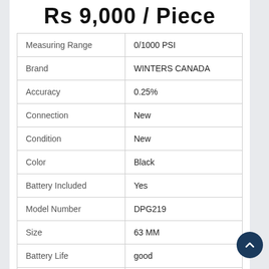Rs 9,000 / Piece
| Property | Value |
| --- | --- |
| Measuring Range | 0/1000 PSI |
| Brand | WINTERS CANADA |
| Accuracy | 0.25% |
| Connection | New |
| Condition | New |
| Color | Black |
| Battery Included | Yes |
| Model Number | DPG219 |
| Size | 63 MM |
| Battery Life | good |
| Warranty | YAS |